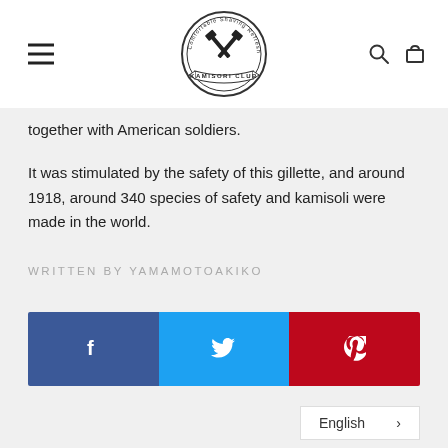[Figure (logo): Kamisori Club circular logo with crossed razors and text 'Comfortable Shaving Refreshes Your Day' around the top, 'KAMISORI CLUB' on a banner at the bottom]
together with American soldiers.
It was stimulated by the safety of this gillette, and around 1918, around 340 species of safety and kamisoli were made in the world.
WRITTEN BY YAMAMOTOAKIKO
[Figure (infographic): Social share buttons row: Facebook (blue), Twitter (cyan), Pinterest (red)]
English >